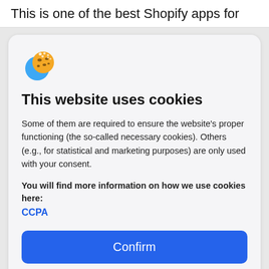This is one of the best Shopify apps for
[Figure (illustration): Cookie emoji icon — a cartoon cookie with a blue shape behind it]
This website uses cookies
Some of them are required to ensure the website's proper functioning (the so-called necessary cookies). Others (e.g., for statistical and marketing purposes) are only used with your consent.
You will find more information on how we use cookies here: CCPA
Confirm
Do not sell my personal information